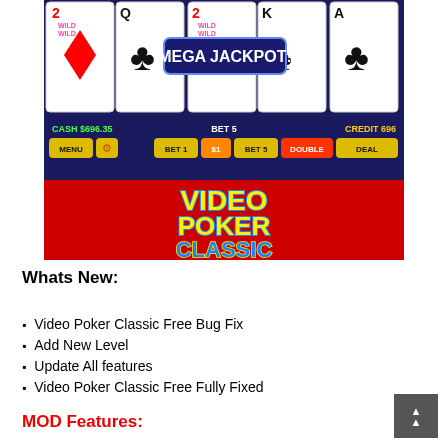[Figure (screenshot): Video Poker Classic app screenshot showing playing cards with MEGA JACKPOT overlay, game controls (MENU, BET 1, $1, BET 5, DOUBLE, DEAL), CASH $696.35, BET 5, CREDIT 696, and the Video Poker Classic logo on a red background]
Whats New:
Video Poker Classic Free Bug Fix
Add New Level
Update All features
Video Poker Classic Free Fully Fixed
MOD Features: